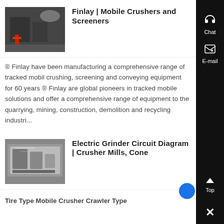[Figure (photo): Industrial mobile crusher machine photo, dark background with red equipment visible]
Finlay | Mobile Crushers and Screeners
® Finlay have been manufacturing a comprehensive range of tracked mobil crushing, screening and conveying equipment for 60 years ® Finlay are global pioneers in tracked mobile solutions and offer a comprehensive range of equipment to the quarrying, mining, construction, demolition and recycling industri...
[Figure (photo): Electric grinder or crusher industrial machinery photo]
Electric Grinder Circuit Diagram | Crusher Mills, Cone
Tire Type Mobile Crusher Crawler Type